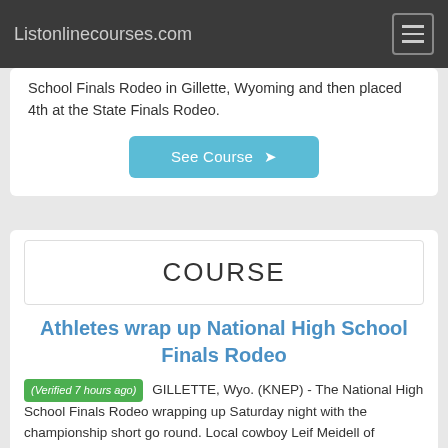Listonlinecourses.com
School Finals Rodeo in Gillette, Wyoming and then placed 4th at the State Finals Rodeo.
See Course ➔
COURSE
Athletes wrap up National High School Finals Rodeo
(Verified 7 hours ago) GILLETTE, Wyo. (KNEP) - The National High School Finals Rodeo wrapping up Saturday night with the championship short go round. Local cowboy Leif Meidell of Harrison competing in saddle bronc advanced into the championship go round and finished 4th with a time